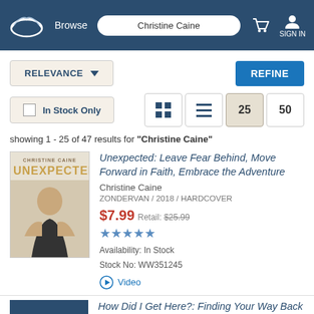Browse | Christine Caine | SIGN IN
RELEVANCE | REFINE
In Stock Only | view options: grid, list, 25, 50
showing 1 - 25 of 47 results for "Christine Caine"
[Figure (photo): Book cover of 'Unexpected' by Christine Caine showing a smiling woman with blonde hair]
Unexpected: Leave Fear Behind, Move Forward in Faith, Embrace the Adventure
Christine Caine
ZONDERVAN / 2018 / HARDCOVER
$7.99 Retail: $25.99
★★★★★
Availability: In Stock
Stock No: WW351245
▶ Video
How Did I Get Here?: Finding Your Way Back